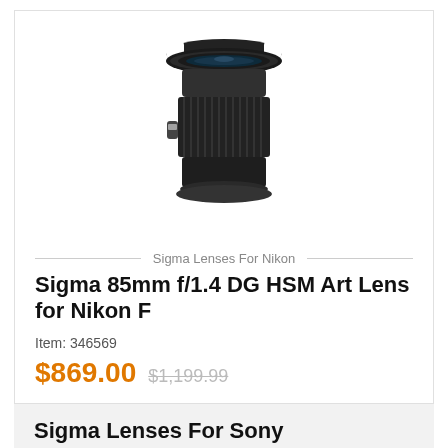[Figure (photo): Sigma 85mm f/1.4 DG HSM Art Lens for Nikon F camera lens with lens hood attached, black, viewed from front-top angle]
Sigma Lenses For Nikon
Sigma 85mm f/1.4 DG HSM Art Lens for Nikon F
Item: 346569
$869.00  $1,199.99
Sigma Lenses For Sony